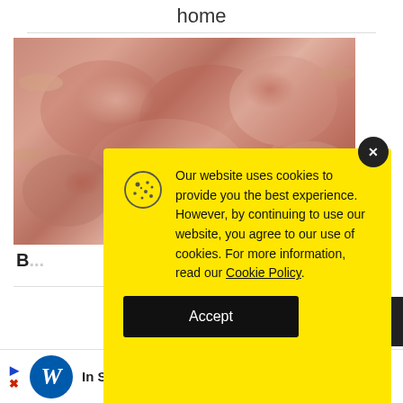home
[Figure (photo): Close-up photo of newborn hairless rodents (mice or rats) huddled together on wood shavings]
B...
[Figure (infographic): Cookie consent modal with yellow background. Text reads: 'Our website uses cookies to provide you the best experience. However, by continuing to use our website, you agree to our use of cookies. For more information, read our Cookie Policy.' with an Accept button. Has a cookie icon and close (x) button.]
[Figure (screenshot): Advertisement banner: Walgreens logo with text 'In Stock. Shop Walgreens.' and a blue diamond icon on right, play/navigation arrows on left]